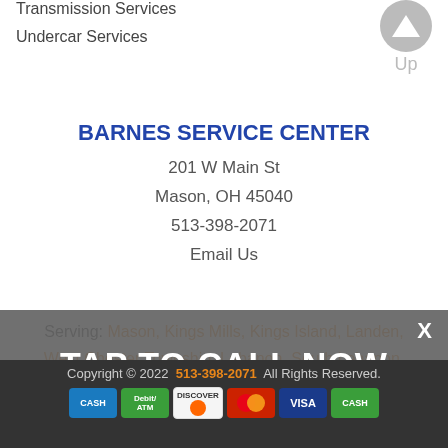Transmission Services
Undercar Services
[Figure (other): Up arrow navigation button (gray circle with white arrow pointing up, labeled 'Up')]
BARNES SERVICE CENTER
201 W Main St
Mason, OH 45040
513-398-2071
Email Us
Serving: Mason, Kings Mills, Kings Island, Landen, West Chester Township, Lebanon, South Lebanon, Deerfield Township
X
TAP TO CALL NOW
Copyright © 2022   513-398-2071   All Rights Reserved.
[Figure (other): Payment method icons: CASH (blue), Debit/ATM (green), DISCOVER, MasterCard, VISA, CASH (green)]